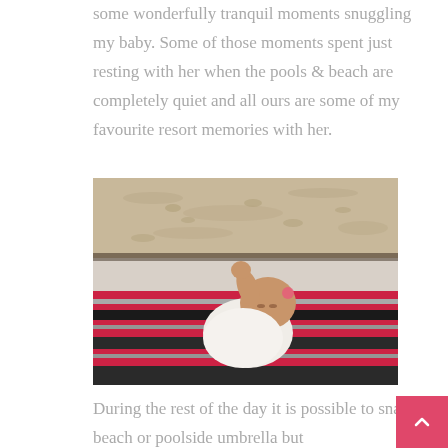some wonderfully tranquil moments snuggling my baby. Some of those moments spent just resting with her when the pools & beach are completely quiet and all ours are some of my favourite resort memories with her.
[Figure (photo): A sleeping baby lying on a colorful striped blanket on a beach, with sand visible in the background.]
During the rest of the day it is possible to snag a beach or poolside umbrella but